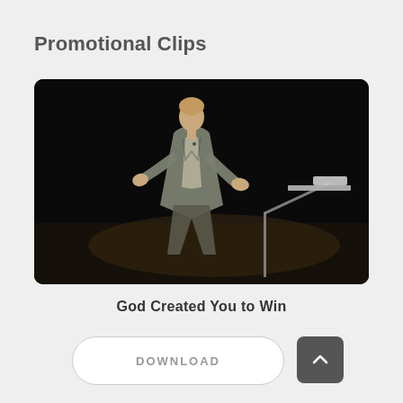Promotional Clips
[Figure (photo): A man in a grey suit speaking on stage at a podium with a microphone, gesturing with his hands against a dark background.]
God Created You to Win
DOWNLOAD